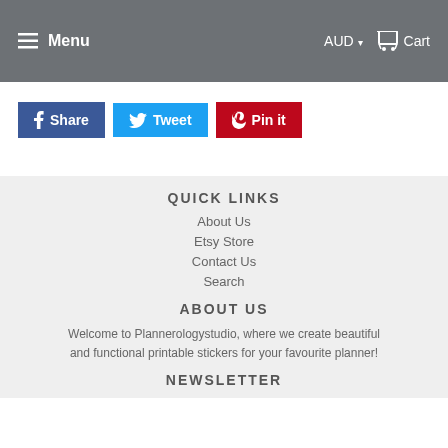Menu  AUD  Cart
Share  Tweet  Pin it
QUICK LINKS
About Us
Etsy Store
Contact Us
Search
ABOUT US
Welcome to Plannerologystudio, where we create beautiful and functional printable stickers for your favourite planner!
NEWSLETTER